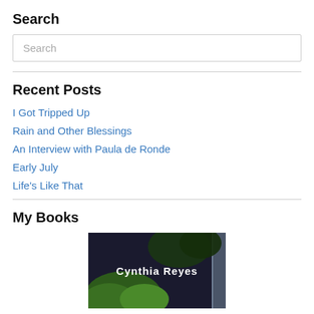Search
[Figure (other): Search input box with placeholder text 'Search']
Recent Posts
I Got Tripped Up
Rain and Other Blessings
An Interview with Paula de Ronde
Early July
Life's Like That
My Books
[Figure (photo): Book cover featuring text 'Cynthia Reyes' on a dark background with foliage]